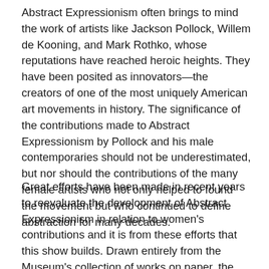Abstract Expressionism often brings to mind the work of artists like Jackson Pollock, Willem de Kooning, and Mark Rothko, whose reputations have reached heroic heights. They have been posited as innovators—the creators of one of the most uniquely American art movements in history. The significance of the contributions made to Abstract Expressionism by Pollock and his male contemporaries should not be underestimated, but nor should the contributions of the many female artists who not only helped to found the movement but who continued to define abstraction for many decades.
Great efforts have been made in recent years to reevaluate the development of Abstract Expressionism in relation to women's contributions and it is from these efforts that this show builds. Drawn entirely from the Museum's collection of works on paper, the work of pivotal artists including Lee Krasner, Elaine de Kooning, Helen Frankenthaler, and Deborah Remington as well as the work of contemporary artist Mary Heilmann, a leading figure in abstract American art, are